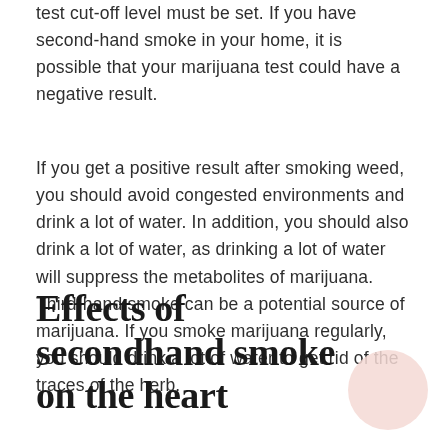test cut-off level must be set. If you have second-hand smoke in your home, it is possible that your marijuana test could have a negative result.
If you get a positive result after smoking weed, you should avoid congested environments and drink a lot of water. In addition, you should also drink a lot of water, as drinking a lot of water will suppress the metabolites of marijuana. Third-hand smoke can be a potential source of marijuana. If you smoke marijuana regularly, you should drink a lot of water to get rid of the traces of the herb.
Effects of secondhand smoke on the heart